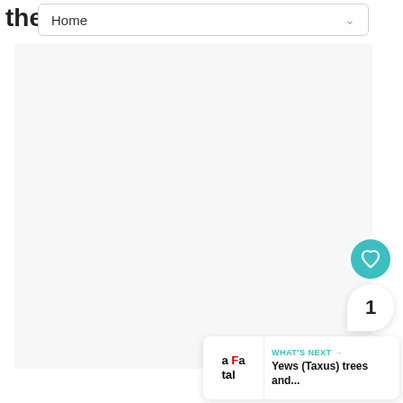the
Home
[Figure (screenshot): Large light gray empty content area]
[Figure (illustration): Teal circular heart/favorite button]
1
[Figure (illustration): White circular share button with share icon]
[Figure (screenshot): What's Next card showing 'Yews (Taxus) trees and...' with thumbnail text 'a Fatal']